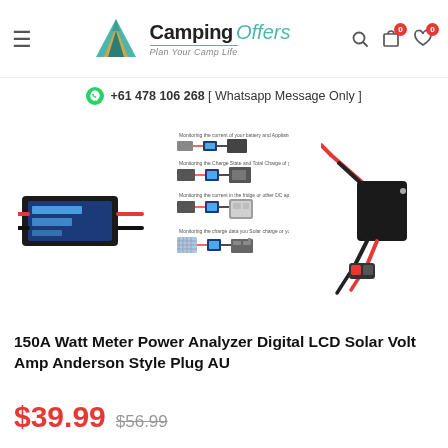Camping Offers — Plan Your Camp Life
+61 478 106 268 [ Whatsapp Message Only ]
[Figure (photo): Three product images of 150A Watt Meter Power Analyzer: left shows device front view with blue LCD and red/black cables, center shows usage diagram with various connection scenarios, right shows device with Anderson plug connectors and cables.]
150A Watt Meter Power Analyzer Digital LCD Solar Volt Amp Anderson Style Plug AU
$39.99  $56.99